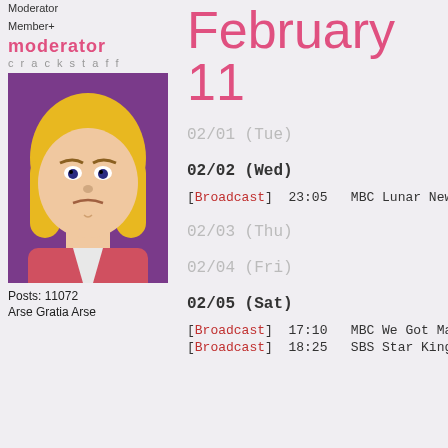Moderator
Member+
[Figure (illustration): Moderator badge with text 'moderator' in pink and 'crackstaff' in grey]
[Figure (photo): Avatar image of He-Man cartoon character with blonde hair and pink outfit]
Posts: 11072
Arse Gratia Arse
February 11
02/01 (Tue)
02/02 (Wed)
[Broadcast]  23:05  MBC Lunar New
02/03 (Thu)
02/04 (Fri)
02/05 (Sat)
[Broadcast]  17:10  MBC We Got Ma
[Broadcast]  18:25  SBS Star King